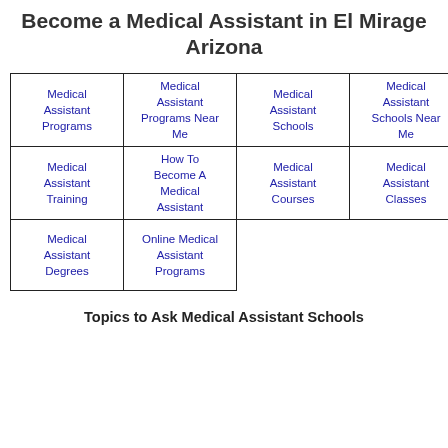Become a Medical Assistant in El Mirage Arizona
| Medical Assistant Programs | Medical Assistant Programs Near Me | Medical Assistant Schools | Medical Assistant Schools Near Me |
| Medical Assistant Training | How To Become A Medical Assistant | Medical Assistant Courses | Medical Assistant Classes |
| Medical Assistant Degrees | Online Medical Assistant Programs |  |  |
Topics to Ask Medical Assistant Schools